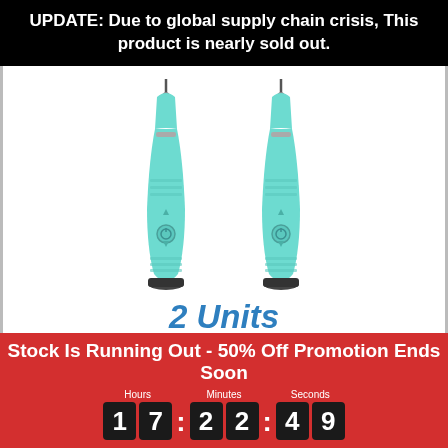UPDATE: Due to global supply chain crisis, This product is nearly sold out.
[Figure (photo): Two teal/mint colored electric dental cleaning devices side by side]
2 Units
$33.50 Per Unit If You Order The 2 Unit Package
Stock Is Running Out - 50% Off Promotion Ends Soon
Hours 17 : Minutes 22 : Seconds 49